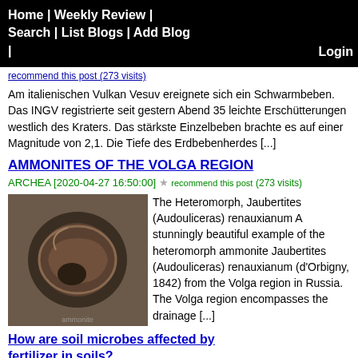Home | Weekly Review | Search | List Blogs | Add Blog |   Login
recommend this post (273 visits)
Am italienischen Vulkan Vesuv ereignete sich ein Schwarmbeben. Das INGV registrierte seit gestern Abend 35 leichte Erschütterungen westlich des Kraters. Das stärkste Einzelbeben brachte es auf einer Magnitude von 2,1. Die Tiefe des Erdbebenherdes [...]
AMMONITES OF THE VOLGA REGION
ARCHEA [2020-04-27 16:50:00] ★ recommend this post (273 visits)
[Figure (photo): Photo of a heteromorph ammonite fossil (Jaubertites/Audouliceras renauxianum), spiral shell with iridescent surface]
The Heteromorph, Jaubertites (Audouliceras) renauxianum A stunningly beautiful example of the heteromorph ammonite Jaubertites (Audouliceras) renauxianum (d'Orbigny, 1842) from the Volga region in Russia. The Volga region encompasses the drainage [...]
How are soil microbes affected by fertilizer in soils?
SOILS MATTER, GET THE SCOOP! [2020-05-01 09:50:56] ★ recommend this post (273 visits)
[Figure (photo): Partial photo of soil/earth, brownish texture]
There isn't a simple answer to this complex question – but my research hopes to shed some light on this important subject. The h...